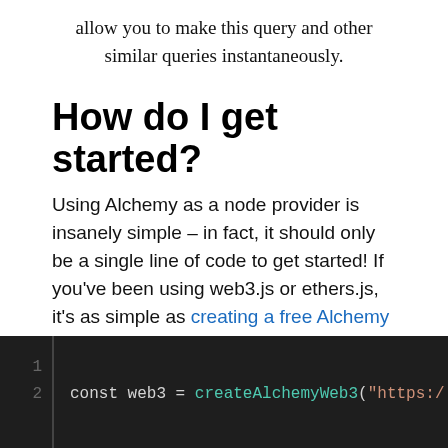allow you to make this query and other similar queries instantaneously.
How do I get started?
Using Alchemy as a node provider is insanely simple – in fact, it should only be a single line of code to get started! If you've been using web3.js or ethers.js, it's as simple as creating a free Alchemy account, generating an API key, and replacing the instantiation with something like this:
[Figure (screenshot): Code block with dark background showing line numbers 1 and 2, with code: const web3 = createAlchemyWeb3("https:/...]